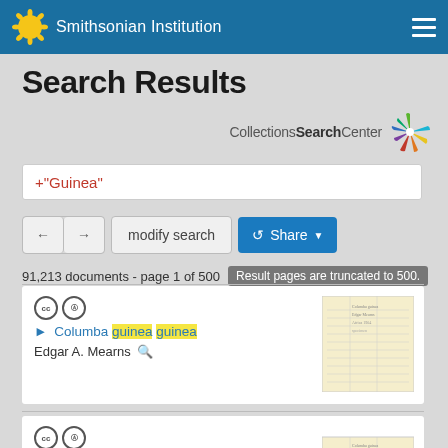Smithsonian Institution
Search Results
[Figure (logo): Collections Search Center logo with colorful asterisk/burst icon]
+"Guinea"
← → modify search Share
91,213 documents - page 1 of 500 Result pages are truncated to 500.
Columba guinea guinea
Edgar A. Mearns
Columba guinea guinea